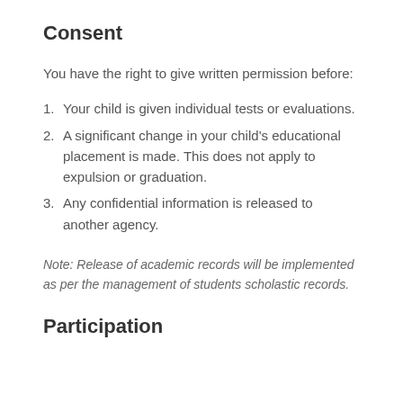Consent
You have the right to give written permission before:
Your child is given individual tests or evaluations.
A significant change in your child's educational placement is made. This does not apply to expulsion or graduation.
Any confidential information is released to another agency.
Note: Release of academic records will be implemented as per the management of students scholastic records.
Participation